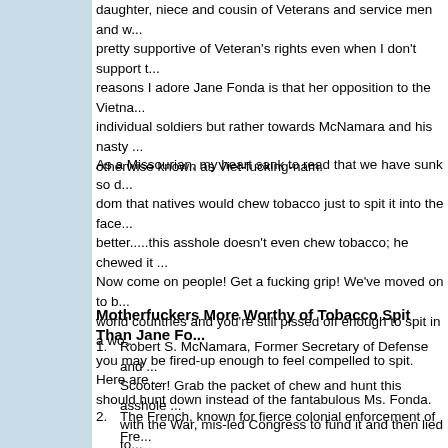daughter, niece and cousin of Veterans and service men and w... pretty supportive of Veteran's rights even when I don't support t... reasons I adore Jane Fonda is that her opposition to the Vietna... individual soldiers but rather towards McNamara and his nasty ... otherwise known as Viet-fucking-nam.
As a Missourian, my heart sank to read that we have sunk so d... dom that natives would chew tobacco just to spit it into the face ... better.....this asshole doesn't even chew tobacco; he chewed it ... Now come on people! Get a fucking grip! We've moved on to b... world countries and you're still pissed off enough to spit in a wo... you may be fired-up enough to feel compelled to spit. Here are ... should hunt down instead of the fantabulous Ms. Fonda.
Motherfuckers More Worthy of Tobacco Spit Than Jane Fo...
1. Robert S. McNamara, Former Secretary of Defense and ... Scooter! Grab the packet of chew and hunt this asshole ... with the War, mis-led Congress to fund it and then lied to... MASSIVE fuck up. Feeling pissed? He's your guy.
2. The French, known for fierce colonial enforcement of Fre... Catch a plane to Paris! See, the French were knee deep ... before we dove in. They managed to rile up the locals a... Communist state, thus laying the groundwork for the piss...